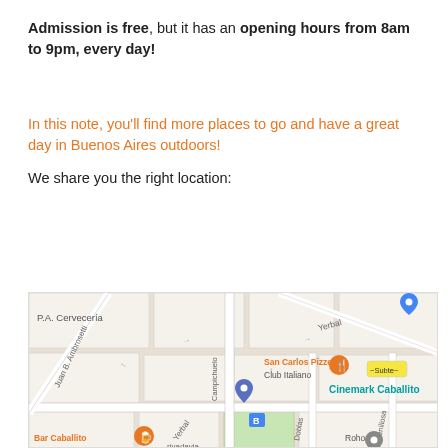Admission is free, but it has an opening hours from 8am to 9pm, every day!
In this note, you'll find more places to go and have a great day in Buenos Aires outdoors!
We share you the right location:
[Figure (map): Google Maps screenshot showing streets around Cinemark Caballito in Buenos Aires, Argentina. Streets visible include Juan B. Ambrosetti, Yerbal, Camnichuelo, Doblas, Senillosa, Rivadavia. Points of interest labeled include PA Cerveceria, San Carlos Pizzeria, Club Italiano, Cinemark Caballito, Bar Caballito, Roho.]